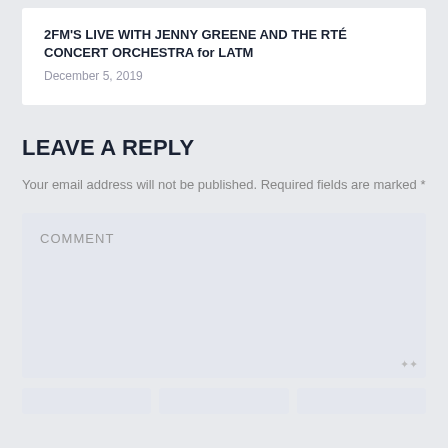2FM'S LIVE WITH JENNY GREENE AND THE RTÉ CONCERT ORCHESTRA for LATM
December 5, 2019
LEAVE A REPLY
Your email address will not be published. Required fields are marked *
COMMENT